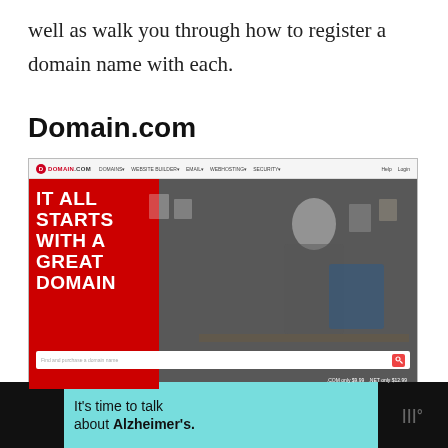well as walk you through how to register a domain name with each.
Domain.com
[Figure (screenshot): Screenshot of Domain.com website homepage showing navigation bar at top with logo, menu items (DOMAINS, WEBSITE BUILDER, EMAIL, WEBHOSTING, SECURITY), and a hero banner with red left panel displaying large white bold text 'IT ALL STARTS WITH A GREAT DOMAIN' and a photo of a person working at a desk on the right. Below the hero text is a search bar reading 'Find and purchase a domain name' with a search icon. Footer text shows '.COM only $9.99 .NET only $12.99']
[Figure (screenshot): Advertisement banner at bottom of page with teal/cyan background showing 'It's time to talk about Alzheimer's.' text with a LEARN MORE button and Alzheimer's Association logo. Black area on sides. Close button (X) in top right corner.]